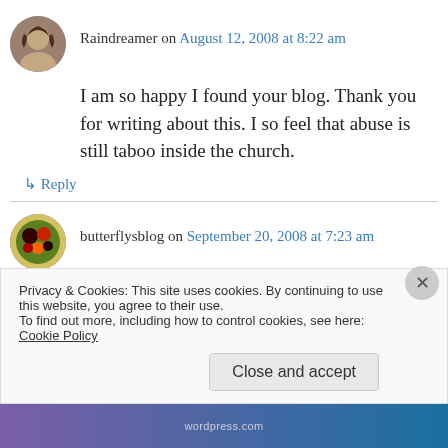Raindreamer on August 12, 2008 at 8:22 am
I am so happy I found your blog. Thank you for writing about this. I so feel that abuse is still taboo inside the church.
↳ Reply
butterflysblog on September 20, 2008 at 7:23 am
You go girl! I am glad to see someone writing about their abuse. The more of us that start
Privacy & Cookies: This site uses cookies. By continuing to use this website, you agree to their use.
To find out more, including how to control cookies, see here: Cookie Policy
Close and accept